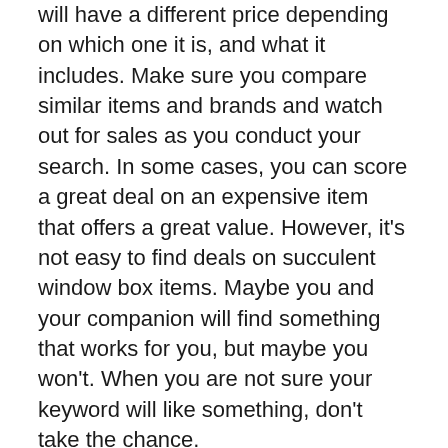will have a different price depending on which one it is, and what it includes. Make sure you compare similar items and brands and watch out for sales as you conduct your search. In some cases, you can score a great deal on an expensive item that offers a great value. However, it's not easy to find deals on succulent window box items. Maybe you and your companion will find something that works for you, but maybe you won't. When you are not sure your keyword will like something, don't take the chance.
Brand Value
Find the brand that has high-quality products and excellent customer service that offers the best value to its customers with the